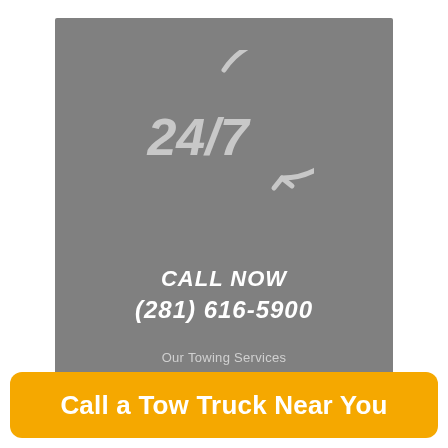[Figure (infographic): 24/7 circular arrow icon on gray background, indicating round-the-clock service]
CALL NOW
(281) 616-5900
Our Towing Services
Call a Tow Truck Near You